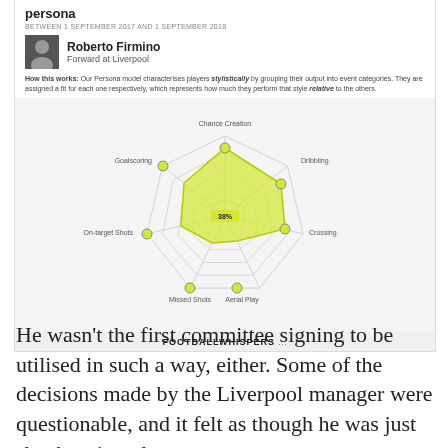persona
BETWEEN 1 SEPTEMBER 2017 AND 1 SEPTEMBER 2018
Roberto Firmino
Forward at Liverpool
How this works: Our Persona model characterises players stylistically by grouping their output into event categories. They are assigned a fit for each one respectively, which represents how much they perform that style relative to the others.
[Figure (radar-chart): Radar/spider chart showing Roberto Firmino's stylistic persona across 7 categories. The shaded yellow-green area highlights his strengths in Chance Creation and Dribbling. Center shows 38% label.]
FOOTBALLWHISPERS ...
He wasn't the first committee signing to be utilised in such a way, either. Some of the decisions made by the Liverpool manager were questionable, and it felt as though he was just shoehorning players